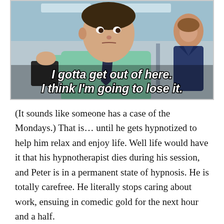[Figure (screenshot): A movie still (from Office Space) showing a man in a light blue shirt and dark tie at a desk, appearing stressed, with a woman in the background. Text overlay reads: 'I gotta get out of here. I think I'm going to lose it.']
(It sounds like someone has a case of the Mondays.) That is… until he gets hypnotized to help him relax and enjoy life. Well life would have it that his hypnotherapist dies during his session, and Peter is in a permanent state of hypnosis. He is totally carefree. He literally stops caring about work, ensuing in comedic gold for the next hour and a half.
So what's your point here, Mason? My point is that…